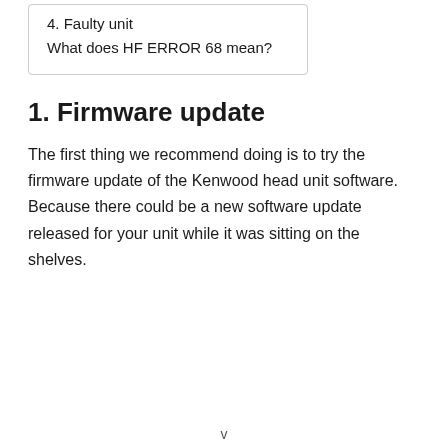4. Faulty unit
What does HF ERROR 68 mean?
1. Firmware update
The first thing we recommend doing is to try the firmware update of the Kenwood head unit software. Because there could be a new software update released for your unit while it was sitting on the shelves.